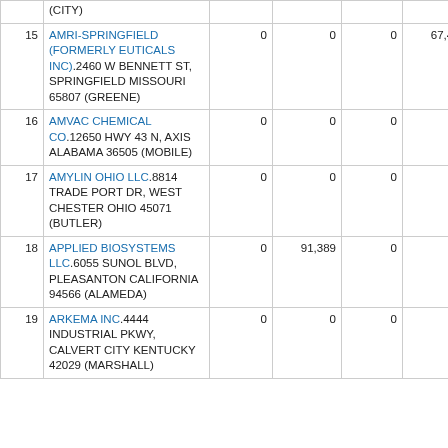| # | Facility Name / Address | Col3 | Col4 | Col5 | Col6 | Col7 |
| --- | --- | --- | --- | --- | --- | --- |
|  | (CITY) |  |  |  |  |  |
| 15 | AMRI-SPRINGFIELD (FORMERLY EUTICALS INC).2460 W BENNETT ST, SPRINGFIELD MISSOURI 65807 (GREENE) | 0 | 0 | 0 | 67,416 | 1 |
| 16 | AMVAC CHEMICAL CO.12650 HWY 43 N, AXIS ALABAMA 36505 (MOBILE) | 0 | 0 | 0 | 0 | 2 |
| 17 | AMYLIN OHIO LLC.8814 TRADE PORT DR, WEST CHESTER OHIO 45071 (BUTLER) | 0 | 0 | 0 | 0 |  |
| 18 | APPLIED BIOSYSTEMS LLC.6055 SUNOL BLVD, PLEASANTON CALIFORNIA 94566 (ALAMEDA) | 0 | 91,389 | 0 | 0 |  |
| 19 | ARKEMA INC.4444 INDUSTRIAL PKWY, CALVERT CITY KENTUCKY 42029 (MARSHALL) | 0 | 0 | 0 | 0 | 13 |